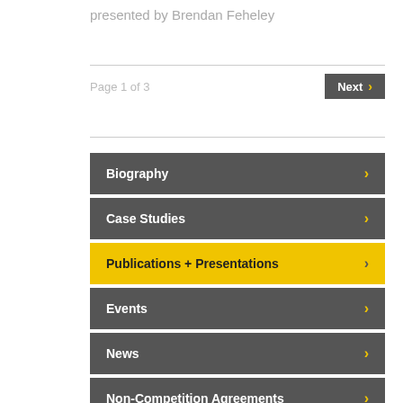presented by Brendan Feheley
Page 1 of 3
Biography
Case Studies
Publications + Presentations
Events
News
Non-Competition Agreements
Leaves of Absence and the Ohio BWC